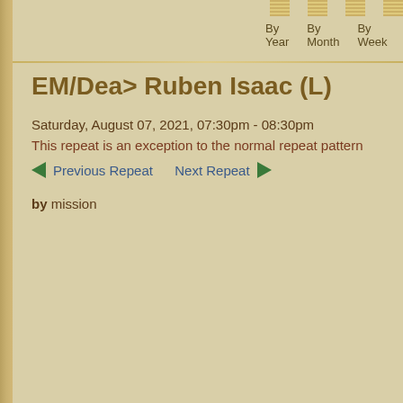By Year   By Month   By Week   Today
EM/Dea> Ruben Isaac (L)
Saturday, August 07, 2021, 07:30pm - 08:30pm
This repeat is an exception to the normal repeat pattern
Previous Repeat   Next Repeat
by mission